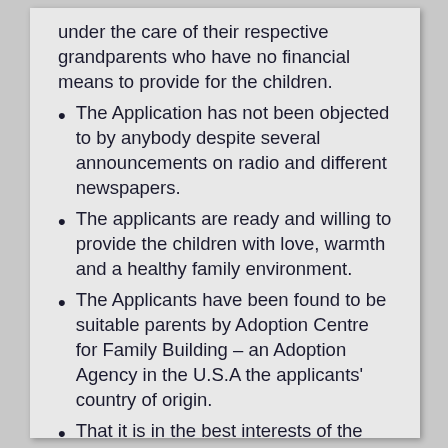under the care of their respective grandparents who have no financial means to provide for the children.
The Application has not been objected to by anybody despite several announcements on radio and different newspapers.
The applicants are ready and willing to provide the children with love, warmth and a healthy family environment.
The Applicants have been found to be suitable parents by Adoption Centre for Family Building – an Adoption Agency in the U.S.A the applicants' country of origin.
That it is in the best interests of the children.
The two Applicants are American citizens who